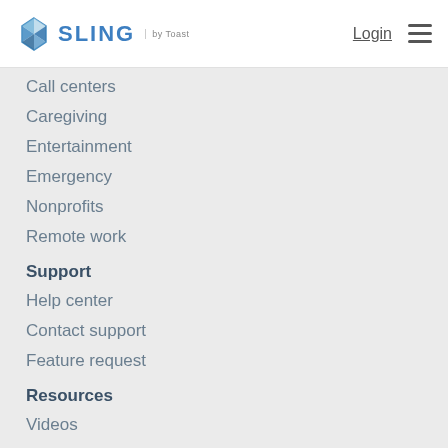SLING by Toast | Login
Call centers
Caregiving
Entertainment
Emergency
Nonprofits
Remote work
Support
Help center
Contact support
Feature request
Resources
Videos
Partnerships
FAQs
Security
GDPR